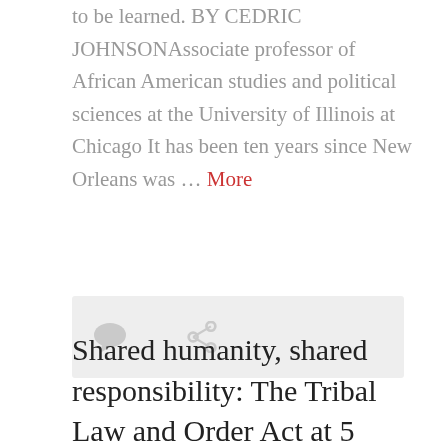to be learned. BY CEDRIC JOHNSONAssociate professor of African American studies and political sciences at the University of Illinois at Chicago It has been ten years since New Orleans was … More
[Figure (other): Icon bar with comment bubble and share/link icons on a light grey background]
Shared humanity, shared responsibility: The Tribal Law and Order Act at 5